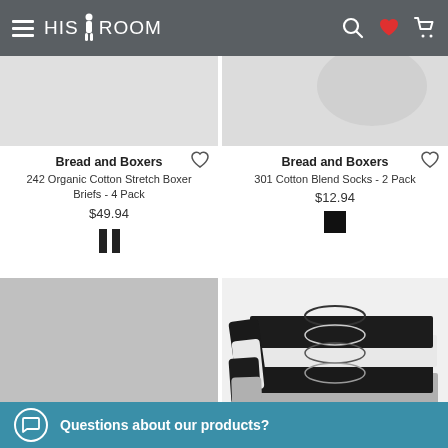HIS ROOM - navigation header with search, wishlist, and cart icons
Bread and Boxers
242 Organic Cotton Stretch Boxer Briefs - 4 Pack
$49.94
Bread and Boxers
301 Cotton Blend Socks - 2 Pack
$12.94
[Figure (photo): Gray placeholder image for product]
[Figure (photo): Stacked black, white, and gray crew neck t-shirts]
Bread and Boxers
124 Organic ...
... xers
Questions about our products?